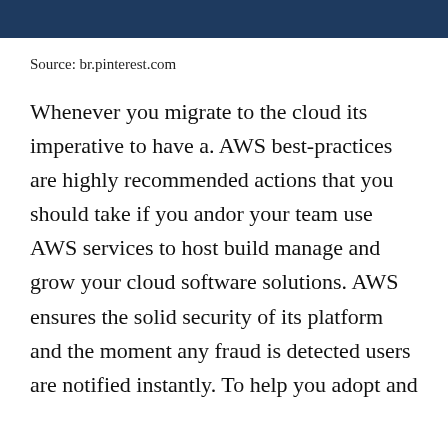Source: br.pinterest.com
Whenever you migrate to the cloud its imperative to have a. AWS best-practices are highly recommended actions that you should take if you andor your team use AWS services to host build manage and grow your cloud software solutions. AWS ensures the solid security of its platform and the moment any fraud is detected users are notified instantly. To help you adopt and